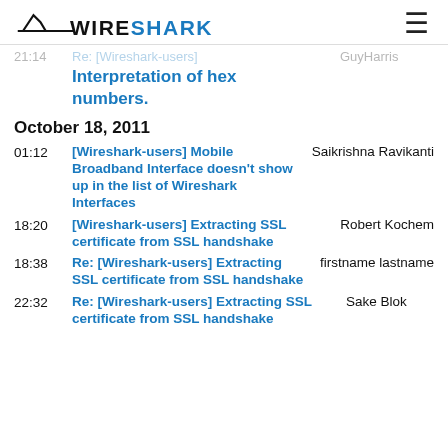WIRESHARK
21:14   Re: [Wireshark-users]   GuyHarris   Interpretation of hex numbers.
Interpretation of hex numbers.
October 18, 2011
01:12   [Wireshark-users] Mobile Broadband Interface doesn't show up in the list of Wireshark Interfaces   Saikrishna Ravikanti
18:20   [Wireshark-users] Extracting SSL certificate from SSL handshake   Robert Kochem
18:38   Re: [Wireshark-users] Extracting SSL certificate from SSL handshake   firstname lastname
22:32   Re: [Wireshark-users] Extracting SSL certificate from SSL handshake   Sake Blok